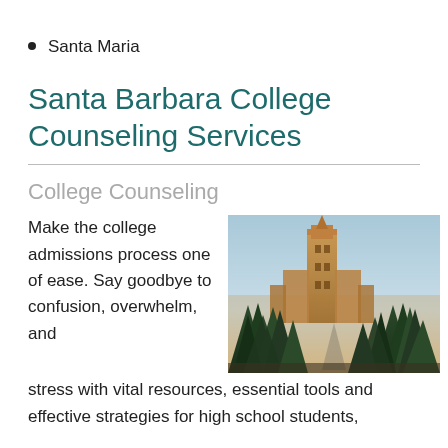Buellton
Santa Maria
Santa Barbara College Counseling Services
College Counseling
Make the college admissions process one of ease. Say goodbye to confusion, overwhelm, and stress with vital resources, essential tools and effective strategies for high school students,
[Figure (photo): A tall university or college tower building with Gothic architecture, surrounded by pine trees, photographed at dusk with a warm golden sky]